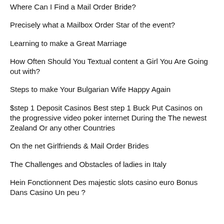Where Can I Find a Mail Order Bride?
Precisely what a Mailbox Order Star of the event?
Learning to make a Great Marriage
How Often Should You Textual content a Girl You Are Going out with?
Steps to make Your Bulgarian Wife Happy Again
$step 1 Deposit Casinos Best step 1 Buck Put Casinos on the progressive video poker internet During the The newest Zealand Or any other Countries
On the net Girlfriends & Mail Order Brides
The Challenges and Obstacles of ladies in Italy
Hein Fonctionnent Des majestic slots casino euro Bonus Dans Casino Un peu ?